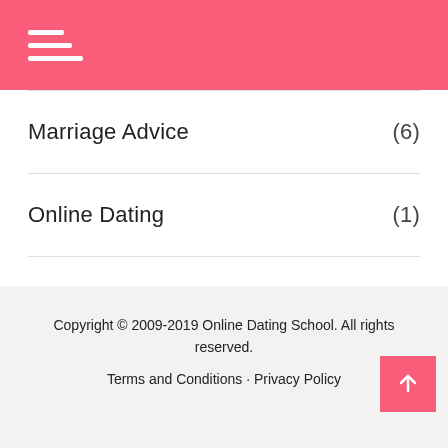≡ (hamburger menu icon)
Marriage Advice (6)
Online Dating (1)
Relationship (39)
Romance (16)
Copyright © 2009-2019 Online Dating School. All rights reserved.
Terms and Conditions · Privacy Policy